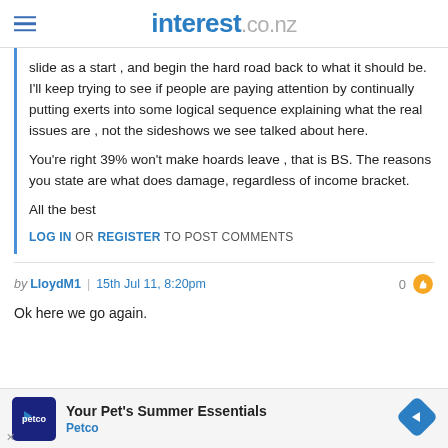interest.co.nz
slide as a start , and begin the hard road back to what it should be. I'll keep trying to see if people are paying attention by continually putting exerts into some logical sequence explaining what the real issues are , not the sideshows we see talked about here.
You're right 39% won't make hoards leave , that is BS. The reasons you state are what does damage, regardless of income bracket.
All the best
LOG IN OR REGISTER TO POST COMMENTS
by LloydM1 | 15th Jul 11, 8:20pm   0
Ok here we go again.
[Figure (other): Petco advertisement banner: 'Your Pet's Summer Essentials' with Petco logo and navigation arrow icon]